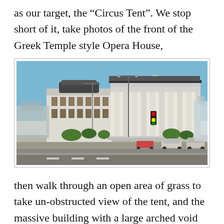as our target, the “Circus Tent”. We stop short of it, take photos of the front of the Greek Temple style Opera House,
[Figure (photo): Photograph of a large white Greek Temple style Opera House building with prominent classical columns on the right side, taken from street level. The building has a grand neoclassical facade with a dark roof. Street lamps, trees, and vehicles are visible in the foreground. Clear blue sky in the background.]
then walk through an open area of grass to take unobstructed view of the tent, and the massive building with a large arched void across the road from it, and a full circle of significant buildings. From directly in front